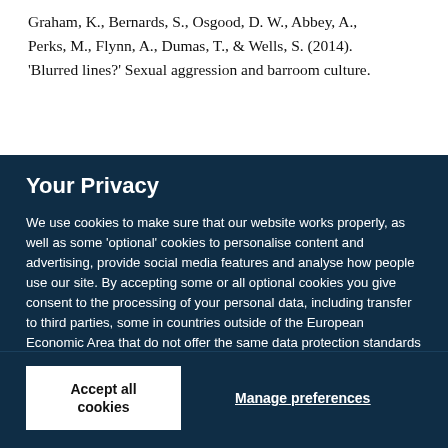Graham, K., Bernards, S., Osgood, D. W., Abbey, A., Perks, M., Flynn, A., Dumas, T., & Wells, S. (2014). 'Blurred lines?' Sexual aggression and barroom culture.
Your Privacy
We use cookies to make sure that our website works properly, as well as some 'optional' cookies to personalise content and advertising, provide social media features and analyse how people use our site. By accepting some or all optional cookies you give consent to the processing of your personal data, including transfer to third parties, some in countries outside of the European Economic Area that do not offer the same data protection standards as the country where you live. You can decide which optional cookies to accept by clicking on 'Manage Settings', where you can also find more information about how your personal data is processed. Further information can be found in our privacy policy.
Accept all cookies
Manage preferences